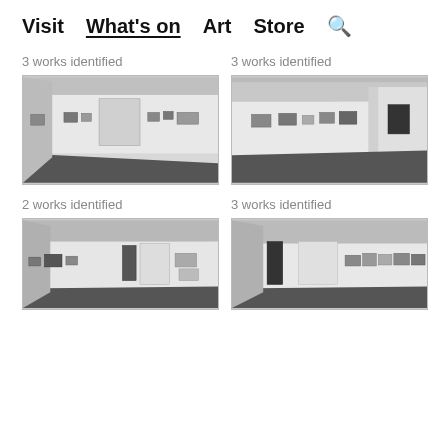Visit  What's on  Art  Store  🔍
3 works identified
3 works identified
[Figure (photo): Black and white photo of an art gallery room with paintings hung on white walls and a dark floor]
[Figure (photo): Black and white photo of an art gallery room with paintings on white walls, viewed from an angle showing a corridor]
2 works identified
3 works identified
[Figure (photo): Black and white photo of an art gallery room with multiple paintings on white walls and dark floor]
[Figure (photo): Black and white photo of an art gallery room with paintings including a large white canvas, viewed from front]